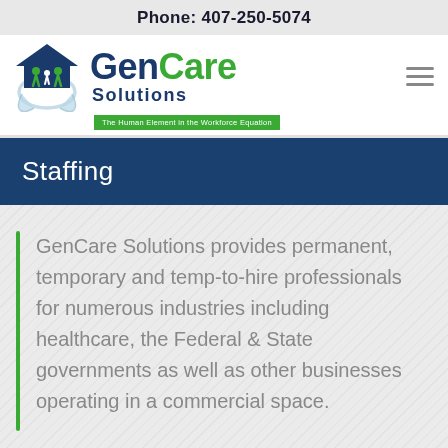Phone: 407-250-5074
[Figure (logo): GenCare Solutions logo with house/family icon and tagline 'The Human Element in the Workforce Equation']
Staffing
GenCare Solutions provides permanent, temporary and temp-to-hire professionals for numerous industries including healthcare, the Federal & State governments as well as other businesses operating in a commercial space.